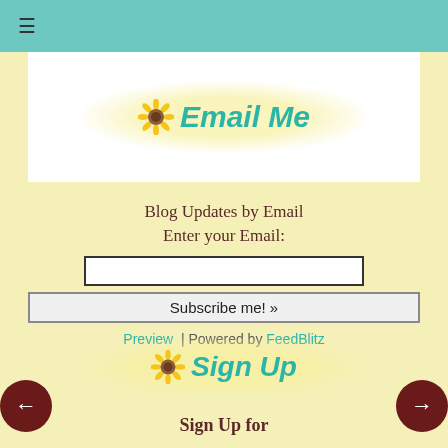≡
[Figure (illustration): Email Me banner with sunflower icon and teal italic bold text on yellow blob background]
Blog Updates by Email
Enter your Email:
[Figure (screenshot): Email input text box]
Subscribe me! »
Preview | Powered by FeedBlitz
[Figure (illustration): Sign Up banner with sunflower icon and teal italic bold text on yellow blob background]
Sign Up for